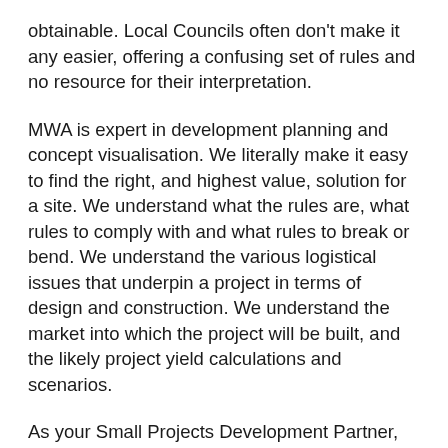obtainable. Local Councils often don't make it any easier, offering a confusing set of rules and no resource for their interpretation.
MWA is expert in development planning and concept visualisation. We literally make it easy to find the right, and highest value, solution for a site. We understand what the rules are, what rules to comply with and what rules to break or bend. We understand the various logistical issues that underpin a project in terms of design and construction. We understand the market into which the project will be built, and the likely project yield calculations and scenarios.
As your Small Projects Development Partner, we have a responsibility to you and ourselves to get this important phase of the project, right. We make the process of Due Diligence and development scenario definition, easy. We take the risk out of project planning and give confidence that the development scenario will work for the market into which it